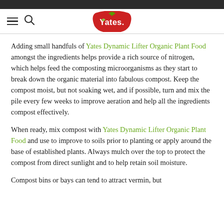Yates (logo navigation bar)
Adding small handfuls of Yates Dynamic Lifter Organic Plant Food amongst the ingredients helps provide a rich source of nitrogen, which helps feed the composting microorganisms as they start to break down the organic material into fabulous compost. Keep the compost moist, but not soaking wet, and if possible, turn and mix the pile every few weeks to improve aeration and help all the ingredients compost effectively.
When ready, mix compost with Yates Dynamic Lifter Organic Plant Food and use to improve to soils prior to planting or apply around the base of established plants. Always mulch over the top to protect the compost from direct sunlight and to help retain soil moisture.
Compost bins or bays can tend to attract vermin, but